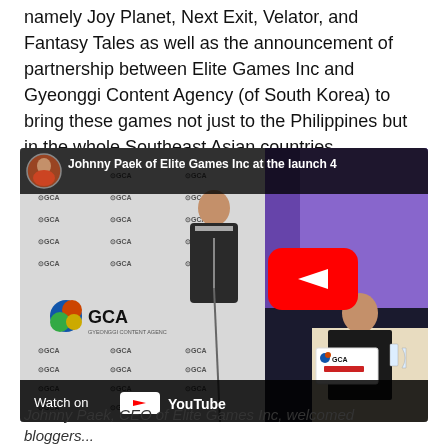namely Joy Planet, Next Exit, Velator, and Fantasy Tales as well as the announcement of partnership between Elite Games Inc and Gyeonggi Content Agency (of South Korea) to bring these games not just to the Philippines but in the whole Southeast Asian countries.
[Figure (screenshot): YouTube video thumbnail showing Johnny Paek of Elite Games Inc speaking at a podium in front of a GCA (Gyeonggi Content Agency) branded backdrop. A YouTube play button is overlaid in the center-right area. A small avatar circle and video title bar appear at the top. A 'Watch on YouTube' bar appears at the bottom.]
Johnny Paek, CEO of Elite Games Inc, welcomed bloggers...